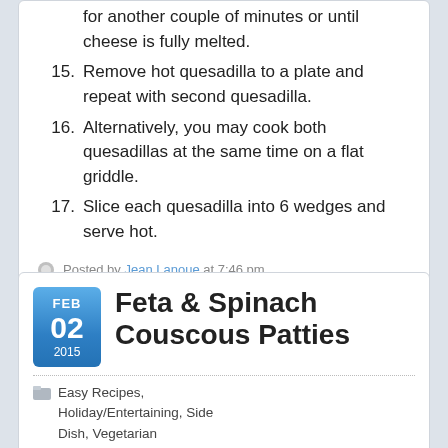for another couple of minutes or until cheese is fully melted.
15. Remove hot quesadilla to a plate and repeat with second quesadilla.
16. Alternatively, you may cook both quesadillas at the same time on a flat griddle.
17. Slice each quesadilla into 6 wedges and serve hot.
Posted by Jean Lanoue at 7:46 pm
Feta & Spinach Couscous Patties
Easy Recipes, Holiday/Entertaining, Side Dish, Vegetarian